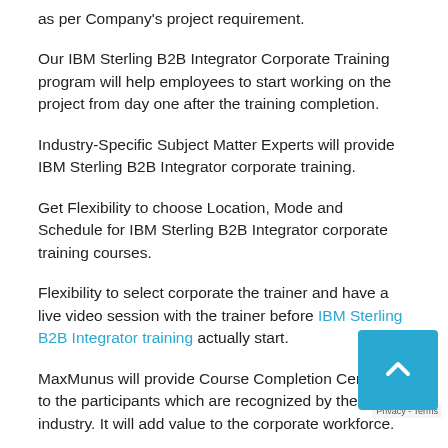as per Company's project requirement.
Our IBM Sterling B2B Integrator Corporate Training program will help employees to start working on the project from day one after the training completion.
Industry-Specific Subject Matter Experts will provide IBM Sterling B2B Integrator corporate training.
Get Flexibility to choose Location, Mode and Schedule for IBM Sterling B2B Integrator corporate training courses.
Flexibility to select corporate the trainer and have a live video session with the trainer before IBM Sterling B2B Integrator training actually start.
MaxMunus will provide Course Completion Certificate to the participants which are recognized by the industry. It will add value to the corporate workforce.
MaxMunus will help the participants understand the IBM